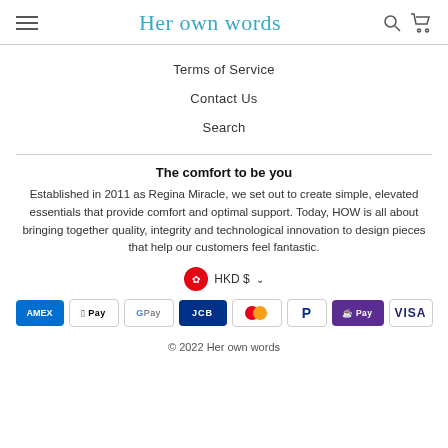Her own words
Terms of Service
Contact Us
Search
The comfort to be you
Established in 2011 as Regina Miracle, we set out to create simple, elevated essentials that provide comfort and optimal support. Today, HOW is all about bringing together quality, integrity and technological innovation to design pieces that help our customers feel fantastic.
[Figure (infographic): HKD $ currency selector with Hong Kong flag icon and dropdown chevron]
[Figure (infographic): Payment method icons: Amex, Apple Pay, Google Pay, JCB, Mastercard, PayPal, Shop Pay, Visa]
© 2022 Her own words